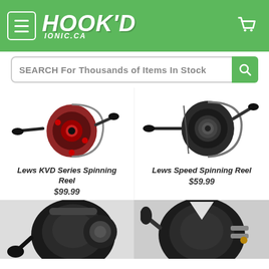HOOK'D IONIC.CA — navigation header with menu, logo, cart
SEARCH For Thousands of Items In Stock
[Figure (photo): Lews KVD Series Spinning Reel — red and black spinning fishing reel]
Lews KVD Series Spinning Reel
$99.99
[Figure (photo): Lews Speed Spinning Reel — black spinning fishing reel]
Lews Speed Spinning Reel
$59.99
[Figure (photo): Black baitcasting fishing reel (partial, bottom of page)]
[Figure (photo): Black baitcasting fishing reel with scroll arrows overlay (partial, bottom of page)]